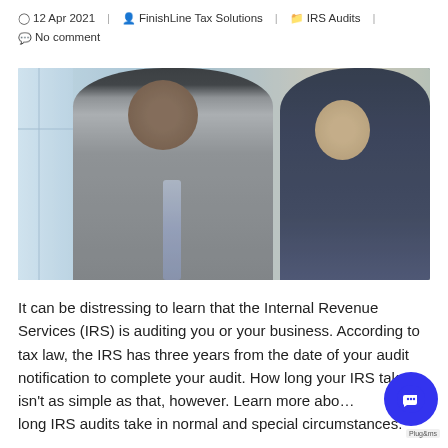12 Apr 2021  FinishLine Tax Solutions  IRS Audits  No comment
[Figure (photo): Two businessmen in suits sitting together, one showing something on a device to the other. Office/meeting setting with window light in background.]
It can be distressing to learn that the Internal Revenue Services (IRS) is auditing you or your business. According to tax law, the IRS has three years from the date of your audit notification to complete your audit. How long your IRS takes isn't as simple as that, however. Learn more about how long IRS audits take in normal and special circumstances.